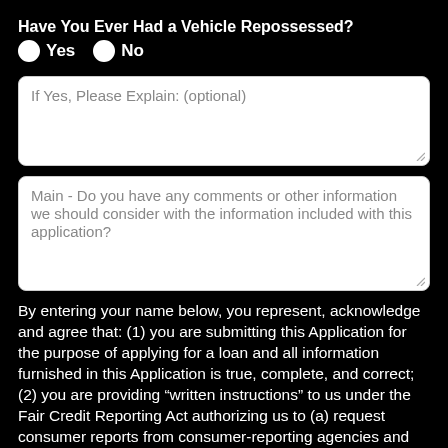Have You Ever Had a Vehicle Repossessed?
Yes   No
If Yes, Please Explain: (optional)
Main - Do you have any comments or other information we should consider with the information included with this application?
By entering your name below, you represent, acknowledge and agree that: (1) you are submitting this Application for the purpose of applying for a loan and all information furnished in this Application is true, complete, and correct; (2) you are providing “written instructions” to us under the Fair Credit Reporting Act authorizing us to (a) request consumer reports from consumer-reporting agencies and information from